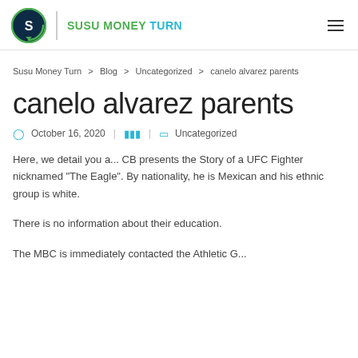SUSU MONEY TURN
Susu Money Turn > Blog > Uncategorized > canelo alvarez parents
canelo alvarez parents
October 16, 2020 | | Uncategorized
Here, we detail you a... CB presents the Story of a UFC Fighter nicknamed "The Eagle". By nationality, he is Mexican and his ethnic group is white.
There is no information about their education.
The MBC is immediately contacted the Athletic General...